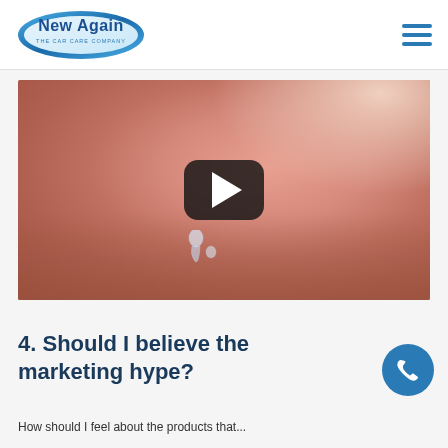[Figure (logo): New Again - The Car Care Company logo, oval badge with blue gradient border and white/blue text]
[Figure (screenshot): Video thumbnail showing a close-up of a hand palm with a clear liquid/gel droplet, with a YouTube-style dark rounded play button overlay in the center]
4. Should I believe the marketing hype?
How should I feel about the products that...